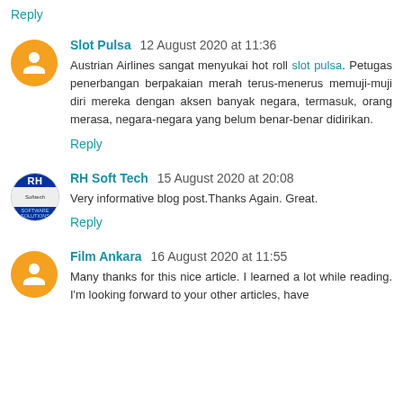Reply
Slot Pulsa 12 August 2020 at 11:36
Austrian Airlines sangat menyukai hot roll slot pulsa. Petugas penerbangan berpakaian merah terus-menerus memuji-muji diri mereka dengan aksen banyak negara, termasuk, orang merasa, negara-negara yang belum benar-benar didirikan.
Reply
RH Soft Tech 15 August 2020 at 20:08
Very informative blog post.Thanks Again. Great.
Reply
Film Ankara 16 August 2020 at 11:55
Many thanks for this nice article. I learned a lot while reading. I'm looking forward to your other articles, have...